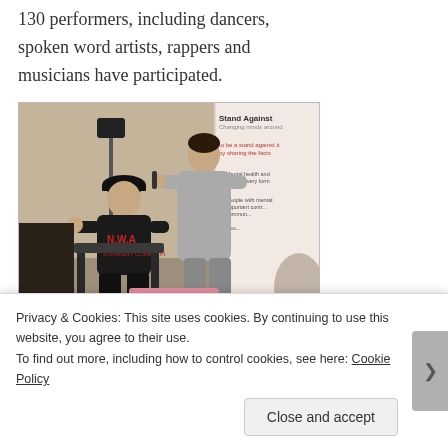130 performers, including dancers, spoken word artists, rappers and musicians have participated.
[Figure (photo): Two people at Hope is Alive! 4 event — one person standing and singing/rapping into a microphone wearing a grey hoodie, another person seated wearing a black N.W.A. t-shirt and cap. A 'Stand Against' banner is visible in the background.]
Billy Riggins and Lewis Gustafson at Hope is Alive! 4 in
Privacy & Cookies: This site uses cookies. By continuing to use this website, you agree to their use.
To find out more, including how to control cookies, see here: Cookie Policy
Close and accept